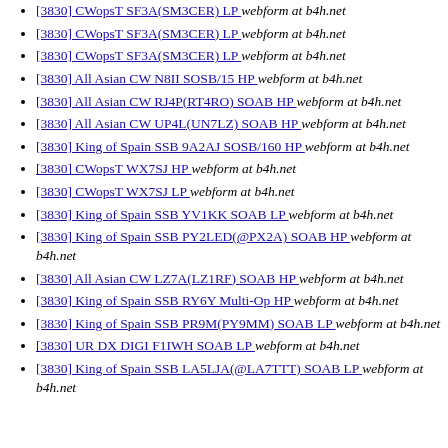[3830] CWopsT SF3A(SM3CER) LP  webform at b4h.net
[3830] CWopsT SF3A(SM3CER) LP  webform at b4h.net
[3830] CWopsT SF3A(SM3CER) LP  webform at b4h.net
[3830] All Asian CW N8II SOSB/15 HP  webform at b4h.net
[3830] All Asian CW RJ4P(RT4RO) SOAB HP  webform at b4h.net
[3830] All Asian CW UP4L(UN7LZ) SOAB HP  webform at b4h.net
[3830] King of Spain SSB 9A2AJ SOSB/160 HP  webform at b4h.net
[3830] CWopsT WX7SJ HP  webform at b4h.net
[3830] CWopsT WX7SJ LP  webform at b4h.net
[3830] King of Spain SSB YV1KK SOAB LP  webform at b4h.net
[3830] King of Spain SSB PY2LED(@PX2A) SOAB HP  webform at b4h.net
[3830] All Asian CW LZ7A(LZ1RF) SOAB HP  webform at b4h.net
[3830] King of Spain SSB RY6Y Multi-Op HP  webform at b4h.net
[3830] King of Spain SSB PR9M(PY9MM) SOAB LP  webform at b4h.net
[3830] UR DX DIGI F1IWH SOAB LP  webform at b4h.net
[3830] King of Spain SSB LA5LJA(@LA7TTT) SOAB LP  webform at b4h.net